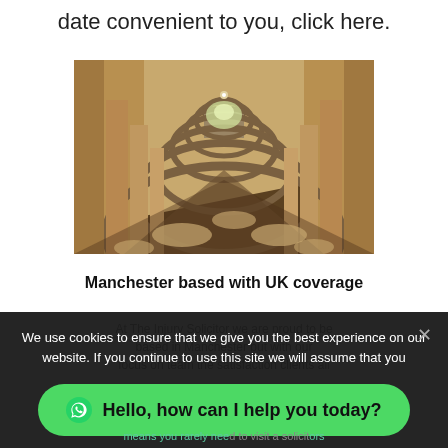date convenient to you, click here.
[Figure (photo): Photograph of a long stone arcade corridor with repeating arches receding into the distance, sunlight casting dramatic shadows on the walkway floor.]
Manchester based with UK coverage
At The Injury Solicitor we are proud to be based in Manchester but with our focus on team the satisfaction clients all
We use cookies to ensure that we give you the best experience on our website. If you continue to use this site we will assume that you
Hello, how can I help you today?
means you rarely need to visit a solicitors